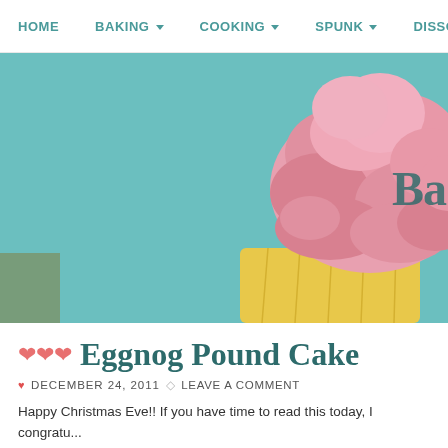HOME  BAKING  COOKING  SPUNK  DISSO...
[Figure (photo): Close-up photo of a cupcake with pink frosting on a teal/blue background, with partially visible text 'Ba...' overlay]
❤❤❤ Eggnog Pound Cake
DECEMBER 24, 2011  LEAVE A COMMENT
Happy Christmas Eve!! If you have time to read this today, I congratu... and on top of your game. You can join with me in pondering a most im... named eggnog? I mean, could you come up with a more unappealing...